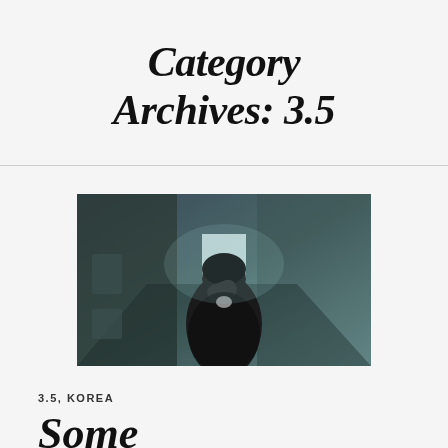Category Archives: 3.5
[Figure (photo): A person in a dark jacket bowing their head in a corridor, cinematic style, teal/dark tones]
3.5, KOREA
Some